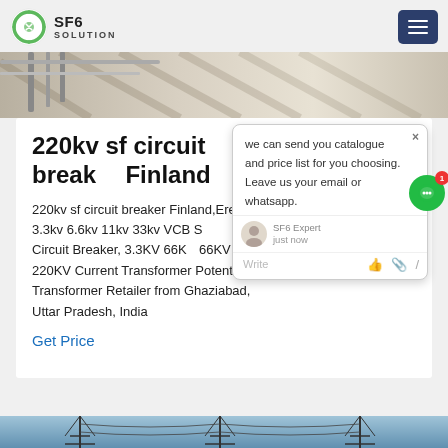SF6 SOLUTION
[Figure (screenshot): Top partial image of a bridge or walkway with metal railing and wooden/tiled deck with diagonal shadow lines]
220kv sf circuit breaker Finland
220kv sf circuit breaker Finland,Erex - 3.3kv 6.6kv 11kv 33kv VCB SF6 h Outdoor Circuit Breaker, 3.3KV 66KV 66KV 132KV 220KV Current Transformer Potential Transformer Retailer from Ghaziabad, Uttar Pradesh, India
Get Price
[Figure (screenshot): Chat popup overlay: 'we can send you catalogue and price list for you choosing. Leave us your email or whatsapp.' with SF6 Expert avatar and Write/like/attach icons]
[Figure (photo): Bottom strip showing electrical transmission towers/pylons against sky]